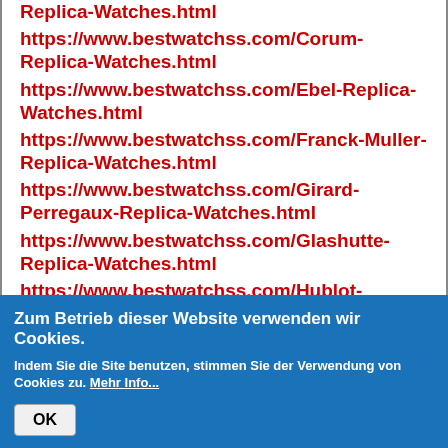Replica-Watches.html
https://www.bestwatchss.com/Corum-Replica-Watches.html
https://www.bestwatchss.com/Ebel-Replica-Watches.html
https://www.bestwatchss.com/Franck-Muller-Replica-Watches.html
https://www.bestwatchss.com/Girard-Perregaux-Replica-Watches.html
https://www.bestwatchss.com/Glashutte-Replica-Watches.html
https://www.bestwatchss.com/Hublot-Replica-Watches.html
Zum Betrieb dieser Website verwenden wir Cookies.
Indem Sie die Site benutzen, stimmen Sie der Verwendung von Cookies zu. Mehr Info...
OK